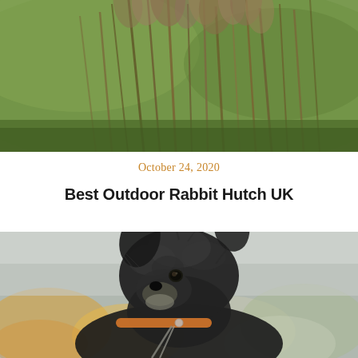[Figure (photo): Close-up photo of a rabbit or small animal partially hidden in tall green ornamental grass, with blurred green background]
October 24, 2020
Best Outdoor Rabbit Hutch UK
[Figure (photo): Close-up portrait photo of a scruffy black wire-haired terrier dog wearing an orange collar and leash, sitting outdoors with blurred autumn foliage in the background]